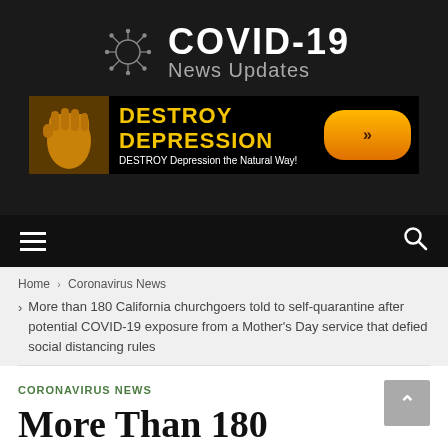[Figure (logo): COVID-19 News Updates logo with coronavirus particle icon on dark background]
[Figure (other): Destroy Depression advertisement banner with gold text and orange button]
[Figure (other): Navigation bar with hamburger menu icon and search icon]
Home > Coronavirus News
More than 180 California churchgoers told to self-quarantine after potential COVID-19 exposure from a Mother's Day service that defied social distancing rules
CORONAVIRUS NEWS
More Than 180